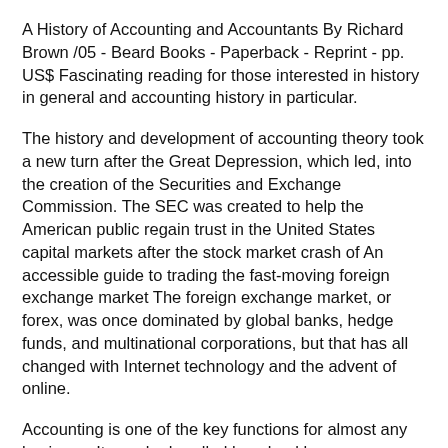A History of Accounting and Accountants By Richard Brown /05 - Beard Books - Paperback - Reprint - pp. US$ Fascinating reading for those interested in history in general and accounting history in particular.
The history and development of accounting theory took a new turn after the Great Depression, which led, into the creation of the Securities and Exchange Commission. The SEC was created to help the American public regain trust in the United States capital markets after the stock market crash of An accessible guide to trading the fast-moving foreign exchange market The foreign exchange market, or forex, was once dominated by global banks, hedge funds, and multinational corporations, but that has all changed with Internet technology and the advent of online.
Accounting is one of the key functions for almost any business. It may be handled by a bookkeeper or an accountant at a small firm, or by sizable finance departments with dozens of employees at. Oct 01, · One of the most shocking examples of accounting history, is that some historians believe